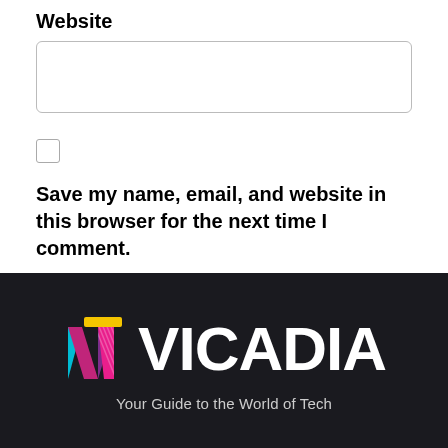Website
[Website input field]
Save my name, email, and website in this browser for the next time I comment.
Post comment
[Figure (logo): Vicadia logo with colorful V icon and text 'VICADIA — Your Guide to the World of Tech' on dark background]